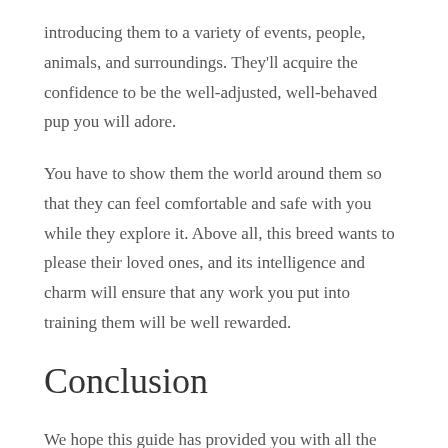introducing them to a variety of events, people, animals, and surroundings. They'll acquire the confidence to be the well-adjusted, well-behaved pup you will adore.
You have to show them the world around them so that they can feel comfortable and safe with you while they explore it. Above all, this breed wants to please their loved ones, and its intelligence and charm will ensure that any work you put into training them will be well rewarded.
Conclusion
We hope this guide has provided you with all the information you need about Pomapoos.
These beautiful little dogs take distinctive physical characteristics